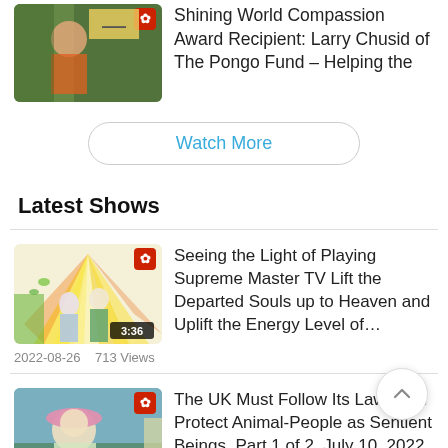[Figure (screenshot): Video thumbnail of woman with animals outdoors, with SMTV icon overlay]
Shining World Compassion Award Recipient: Larry Chusid of The Pongo Fund – Helping the
Watch More
Latest Shows
[Figure (screenshot): Illustrated video thumbnail showing heavenly light rays and figures, duration 3:36]
Seeing the Light of Playing Supreme Master TV Lift the Departed Souls up to Heaven and Uplift the Energy Level of…
2022-08-26    713 Views
[Figure (screenshot): Video thumbnail of woman in pink hat outdoors, duration 37:17]
The UK Must Follow Its Laws and Protect Animal-People as Sentient Beings, Part 1 of 2, July 10, 2022